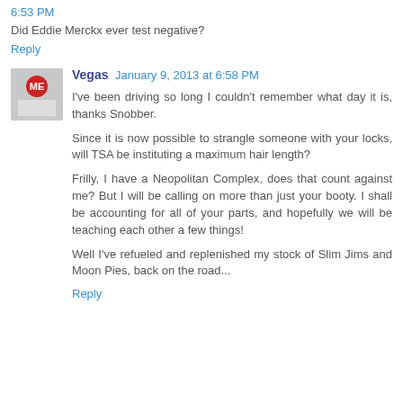6:53 PM
Did Eddie Merckx ever test negative?
Reply
Vegas  January 9, 2013 at 6:58 PM
I've been driving so long I couldn't remember what day it is, thanks Snobber.
Since it is now possible to strangle someone with your locks, will TSA be instituting a maximum hair length?
Frilly, I have a Neopolitan Complex, does that count against me? But I will be calling on more than just your booty. I shall be accounting for all of your parts, and hopefully we will be teaching each other a few things!
Well I've refueled and replenished my stock of Slim Jims and Moon Pies, back on the road...
Reply